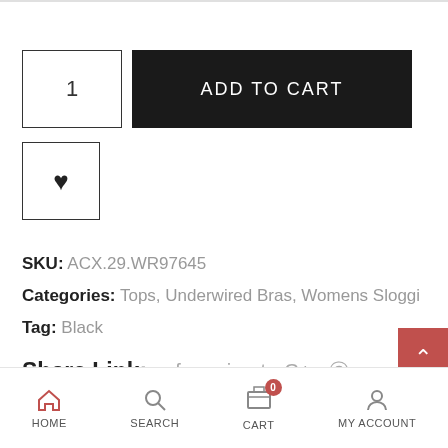[Figure (screenshot): Add to cart section with quantity box showing '1' and a black 'ADD TO CART' button]
[Figure (screenshot): Wishlist button with heart icon]
SKU: ACX.29.WR97645
Categories: Tops, Underwired Bras, Womens Sloggi
Tag: Black
Share Link: f  y  in  t  G+  @
[Figure (screenshot): Bottom navigation bar with HOME, SEARCH, CART (badge 0), MY ACCOUNT icons]